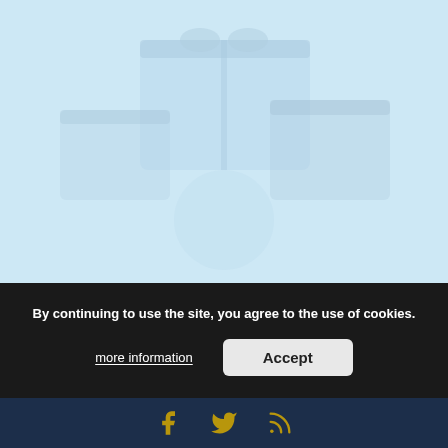[Figure (photo): Light blue background with faint product/gift box imagery]
Gift boxes
We have a selection of gift/treat boxes to suit any budget, starting at £14 - and it's free delivery on orders over £15.
By continuing to use the site, you agree to the use of cookies.
more information
Accept
Social media links: Facebook, Twitter, RSS